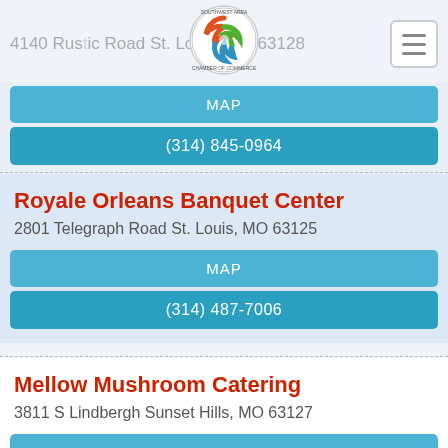4140 Rustic Road St. Louis, MO 63128
[Figure (logo): Southwest Area Chamber of Commerce circular logo with colorful swirl design]
MAP
(314) 845-0964
Royale Orleans Banquet Center
2801 Telegraph Road St. Louis, MO 63125
MAP
(314) 487-7006
Mellow Mushroom Catering
3811 S Lindbergh Sunset Hills, MO 63127
MAP